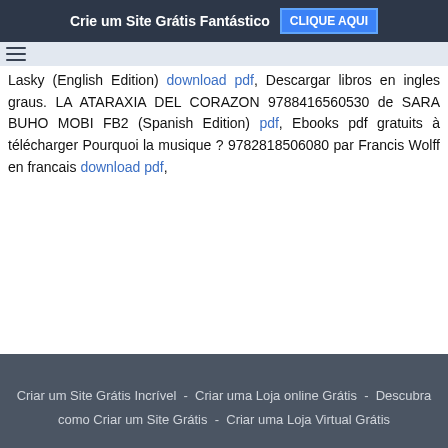Crie um Site Grátis Fantástico   CLIQUE AQUI
Lasky (English Edition) download pdf, Descargar libros en ingles graus. LA ATARAXIA DEL CORAZON 9788416560530 de SARA BUHO MOBI FB2 (Spanish Edition) pdf, Ebooks pdf gratuits à télécharger Pourquoi la musique ? 9782818506080 par Francis Wolff en francais download pdf,
Criar um Site Grátis Incrível - Criar uma Loja online Grátis - Descubra como Criar um Site Grátis - Criar uma Loja Virtual Grátis